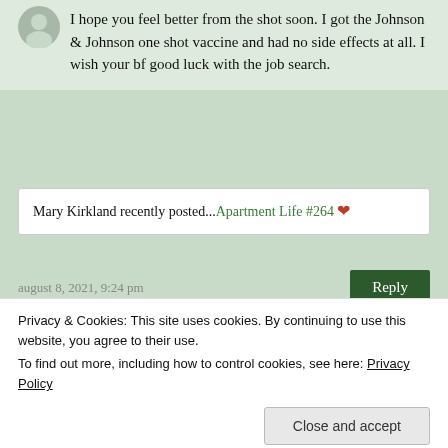I hope you feel better from the shot soon. I got the Johnson & Johnson one shot vaccine and had no side effects at all. I wish your bf good luck with the job search.
Mary Kirkland recently posted...Apartment Life #264
august 8, 2021, 9:24 pm
Reply
lola
Thanks! I felt a lot better this week
Privacy & Cookies: This site uses cookies. By continuing to use this website, you agree to their use.
To find out more, including how to control cookies, see here: Privacy Policy
Close and accept